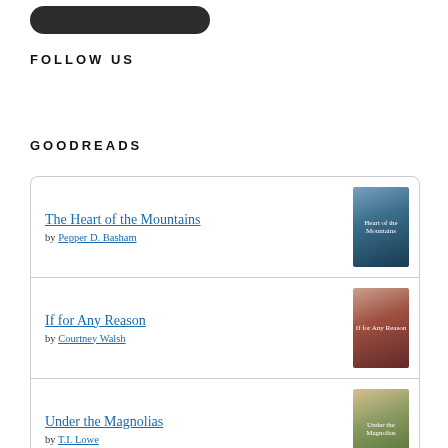[Figure (other): Dark rounded button/badge at top of page]
FOLLOW US
GOODREADS
The Heart of the Mountains by Pepper D. Basham
If for Any Reason by Courtney Walsh
Under the Magnolias by T.I. Lowe